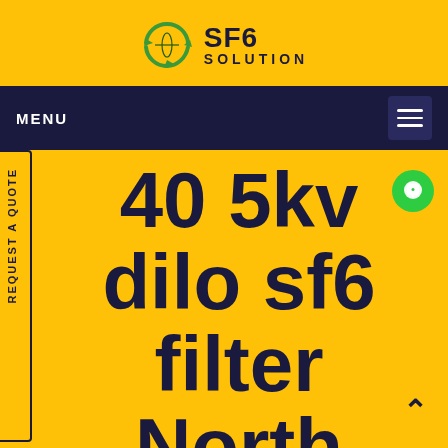[Figure (logo): SF6 Solution logo with green recycling arrow icon, bold SF6 text and SOLUTION subtitle]
MENU
40 5kv dilo sf6 filter North America